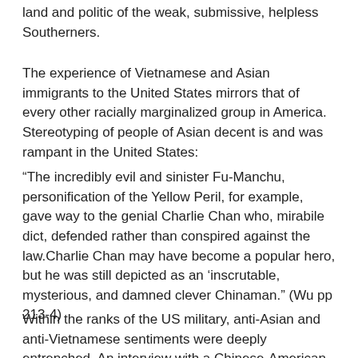land and politic of the weak, submissive, helpless Southerners.
The experience of Vietnamese and Asian immigrants to the United States mirrors that of every other racially marginalized group in America. Stereotyping of people of Asian decent is and was rampant in the United States:
“The incredibly evil and sinister Fu-Manchu, personification of the Yellow Peril, for example, gave way to the genial Charlie Chan who, mirabile dict, defended rather than conspired against the law.Charlie Chan may have become a popular hero, but he was still depicted as an ‘inscrutable, mysterious, and damned clever Chinaman.” (Wu pp 213-4)
Within the ranks of the US military, anti-Asian and anti-Vietnamese sentiments were deeply entrenched. An interview with a Chinese-American GI who served in